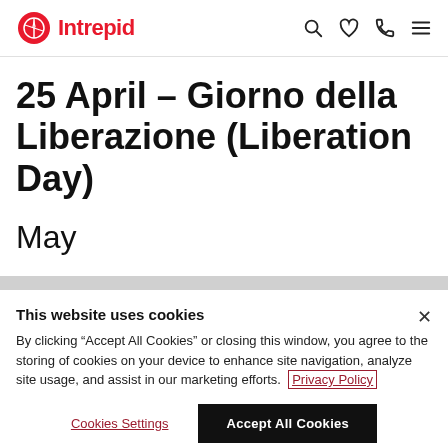Intrepid [logo] [search icon] [heart icon] [phone icon] [menu icon]
25 April – Giorno della Liberazione (Liberation Day)
May
This website uses cookies
By clicking "Accept All Cookies" or closing this window, you agree to the storing of cookies on your device to enhance site navigation, analyze site usage, and assist in our marketing efforts. Privacy Policy
Cookies Settings | Accept All Cookies